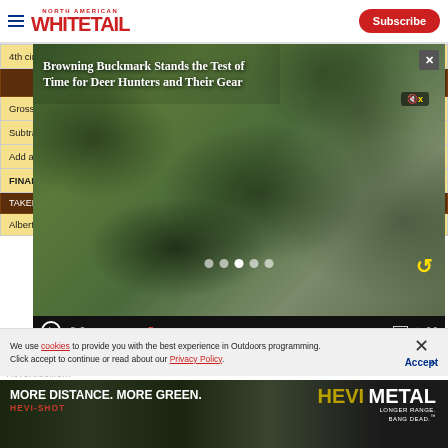North American Whitetail — Subscribe
|  | Right | Left | Difference |
| --- | --- | --- | --- |
| 4th circ. (H-4) | 46/8 | 46/8 | – |
| TOTALS: |  |  |  |
| Gross Typical Score: |  |  |  |
| Subtract side-to-side dif |  |  |  |
| Add abnormal points |  |  |  |
| FINAL NET NON-TYPICAL S |  |  |  |
| TAKEN BY: Donald Crocke |  |  |  |
| Alberta |  |  |  |
[Figure (screenshot): Video overlay showing 'Browning Buckmark Stands the Test of Time for Deer Hunters and Their Gear' with video controls showing 00:00 / 04:47]
We use cookies to provide you with the best experience in Outdoors programming. Click accept to continue or read about our Privacy Policy.
Advertisement
[Figure (photo): Hevi-Metal advertisement: MORE DISTANCE. MORE GREEN. HEVI-SHOT — LONGER RANGE. BANG DEAD.]